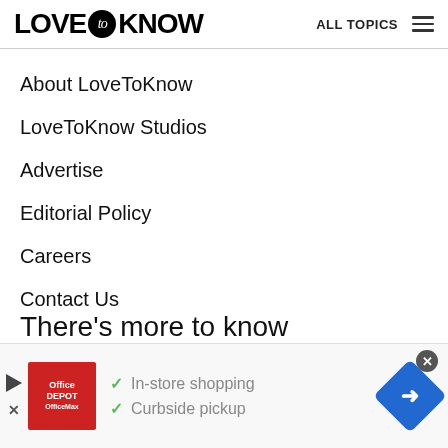LOVE to KNOW  ALL TOPICS
About LoveToKnow
LoveToKnow Studios
Advertise
Editorial Policy
Careers
Contact Us
There’s more to know
[Figure (screenshot): Advertisement banner for OfficeMax/Office Depot showing red logo, checkmarks for 'In-store shopping' and 'Curbside pickup', a navigation arrow icon, and a close button.]